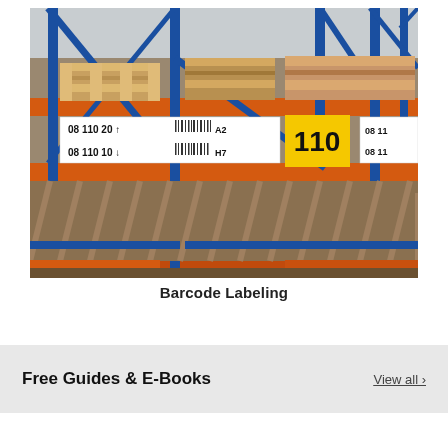[Figure (photo): Warehouse shelving with orange and blue metal racks holding wooden pallets. Labels on the orange beam show barcode location tags with text '08 110 20 A2', '08 110 10 H7', and a large yellow label showing '110'.]
Barcode Labeling
Free Guides & E-Books
View all ›